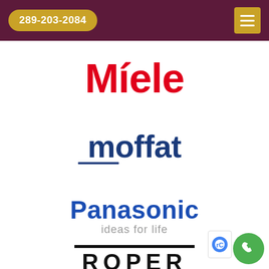289-203-2084
[Figure (logo): Miele logo in bold red serif font with accent over the i]
[Figure (logo): moffat logo in dark blue lowercase with underline accent]
[Figure (logo): Panasonic logo in blue with tagline 'ideas for life' in grey]
[Figure (logo): ROPER logo in black bold caps with horizontal bars above and below]